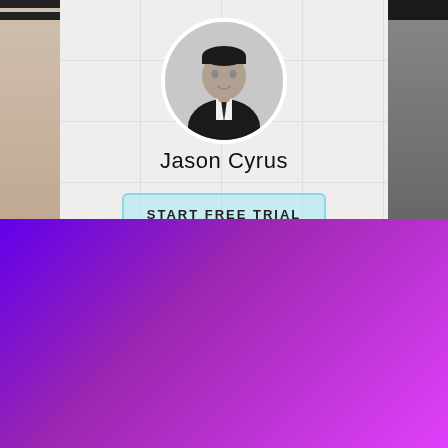[Figure (screenshot): App screenshot showing top section with profile photo of Jason Cyrus in circular frame, 'Jason Cyrus' name text, and 'START FREE TRIAL' button on light gray background with decorative panels.]
Jason Cyrus
START FREE TRIAL
[Figure (screenshot): Purple-to-pink gradient overlay/modal with 'TRAIN WITH US LIVE.' headline, subtitle 'Join Foundations LIVE starting in September.', countdown timer showing 11 DAYS, 20 HOURS, 20 MINUTES, 48 SECONDS, and a 'Learn More' button.]
TRAIN WITH US LIVE.
Join Foundations LIVE starting in September.
11 DAYS
20 HOURS
20 MINUTES
48 SECONDS
Learn More